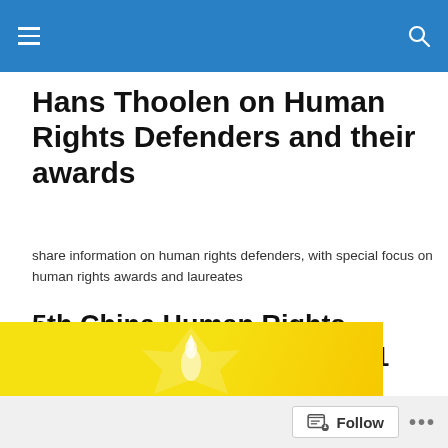Hans Thoolen on Human Rights Defenders and their awards
Hans Thoolen on Human Rights Defenders and their awards
share information on human rights defenders, with special focus on human rights awards and laureates
5th China Human Rights Lawyers Day on 9 July 2021
[Figure (illustration): Yellow background with a white flame/candle shape, partly visible at the bottom of the page.]
Follow